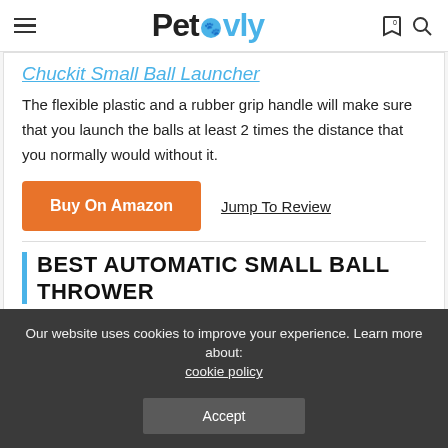Petovly
Chuckit Small Ball Launcher
The flexible plastic and a rubber grip handle will make sure that you launch the balls at least 2 times the distance that you normally would without it.
Buy On Amazon   Jump To Review
BEST AUTOMATIC SMALL BALL THROWER
Our website uses cookies to improve your experience. Learn more about: cookie policy
Accept